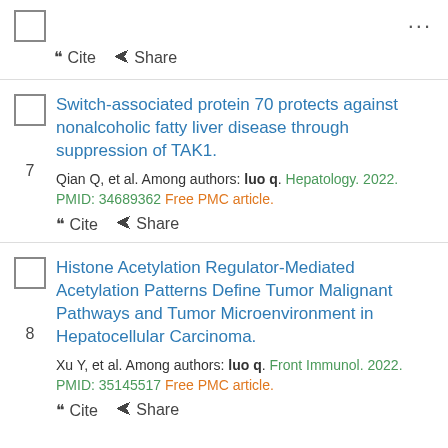❝ Cite  Share
Switch-associated protein 70 protects against nonalcoholic fatty liver disease through suppression of TAK1.
Qian Q, et al. Among authors: luo q. Hepatology. 2022. PMID: 34689362 Free PMC article.
❝ Cite  Share
Histone Acetylation Regulator-Mediated Acetylation Patterns Define Tumor Malignant Pathways and Tumor Microenvironment in Hepatocellular Carcinoma.
Xu Y, et al. Among authors: luo q. Front Immunol. 2022. PMID: 35145517 Free PMC article.
❝ Cite  Share